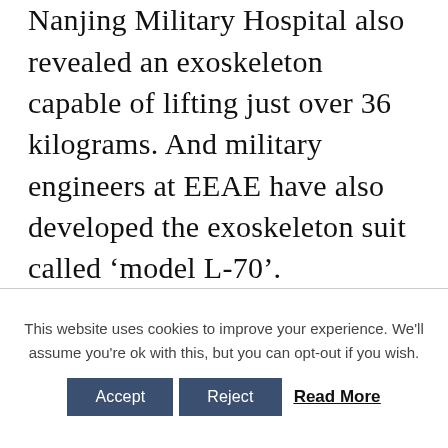Nanjing Military Hospital also revealed an exoskeleton capable of lifting just over 36 kilograms. And military engineers at EEAE have also developed the exoskeleton suit called ‘model L-70’.
This website uses cookies to improve your experience. We'll assume you're ok with this, but you can opt-out if you wish.
Accept  Reject  Read More